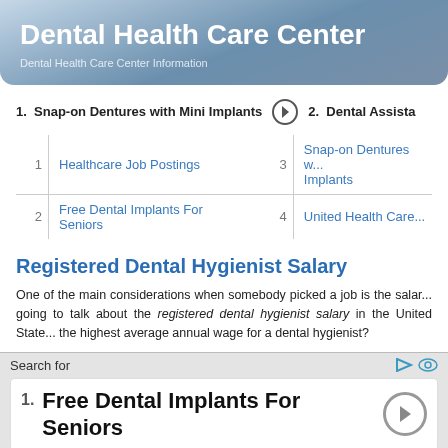Dental Health Care Center
Dental Health Care Center Information
1. Snap-on Dentures with Mini Implants
2. Dental Assista...
| 1 | Healthcare Job Postings | 3 | Snap-on Dentures w... Implants |
| 2 | Free Dental Implants For Seniors | 4 | United Health Care... |
Registered Dental Hygienist Salary
One of the main considerations when somebody picked a job is the salar... going to talk about the registered dental hygienist salary in the United State... the highest average annual wage for a dental hygienist?
Search for
1. Free Dental Implants For Seniors